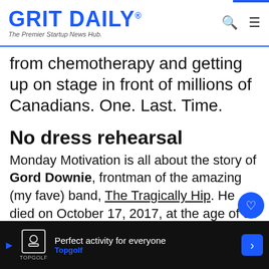GRIT DAILY® — The Premier Startup News Hub.
from chemotherapy and getting up on stage in front of millions of Canadians. One. Last. Time.
No dress rehearsal
Monday Motivation is all about the story of Gord Downie, frontman of the amazing (my fave) band, The Tragically Hip. He died on October 17, 2017, at the age of 53 but his words will continue to inspire generations to come. Through the … lions of
Perfect activity for everyone — Topgolf (advertisement)